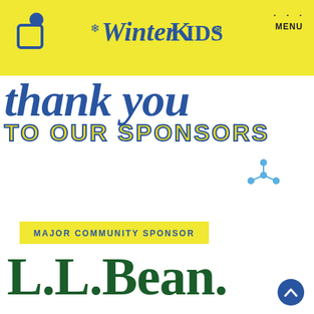WinterKids
[Figure (illustration): WinterKids website header with yellow background, shopping bag icon on left, WinterKids logo in center with snowflake decorations, and MENU navigation on right]
thank you TO OUR SPONSORS
MAJOR COMMUNITY SPONSOR
[Figure (logo): L.L.Bean logo in dark green serif font]